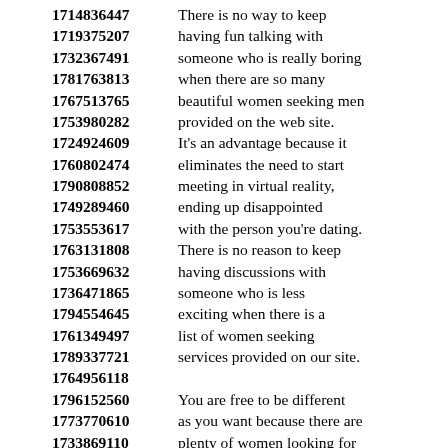1714836447 There is no way to keep
1719375207 having fun talking with
1732367491 someone who is really boring
1781763813 when there are so many
1767513765 beautiful women seeking men
1753980282 provided on the web site.
1724924609 It's an advantage because it
1760802474 eliminates the need to start
1790808852 meeting in virtual reality,
1749289460 ending up disappointed
1753553617 with the person you're dating.
1763131808 There is no reason to keep
1753669632 having discussions with
1736471865 someone who is less
1794554645 exciting when there is a
1761349497 list of women seeking
1789337721 services provided on our site.
1764956118
1796152560 You are free to be different
1773770610 as you want because there are
1733869110 plenty of women looking for
1717948996 relationships to connect with!
1722728227 You can learn a lot by
1781906497 sharing your preferences and
1756952762 conversation from experience